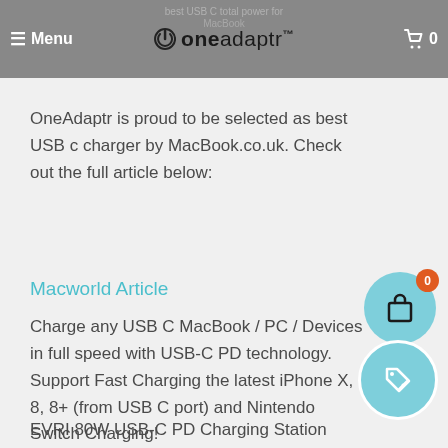≡ Menu | oneadaptr | 🛒 0
OneAdaptr is proud to be selected as best USB c charger by MacBook.co.uk. Check out the full article below:
Macworld Article
Charge any USB C MacBook / PC / Devices in full speed with USB-C PD technology. Support Fast Charging the latest iPhone X, 8, 8+ (from USB C port) and Nintendo Switch Charging!
EVRI 80W USB-C PD Charging Station